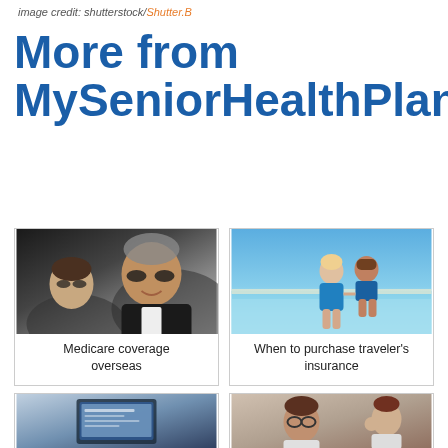image credit: shutterstock/Shutter.B
More from MySeniorHealthPlan
[Figure (photo): Older couple smiling in a car, man wearing sunglasses]
Medicare coverage overseas
[Figure (photo): Older couple walking in shallow ocean water on a beach, woman in blue swimsuit]
When to purchase traveler's insurance
[Figure (photo): Person working on a laptop computer]
[Figure (photo): Older woman with glasses consulting with a healthcare professional]